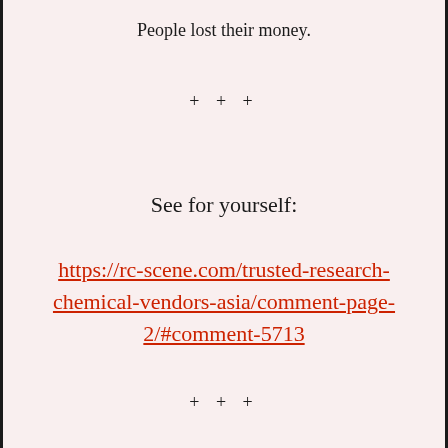People lost their money.
+ + +
See for yourself:
https://rc-scene.com/trusted-research-chemical-vendors-asia/comment-page-2/#comment-5713
+ + +
A long established vendor who ships from